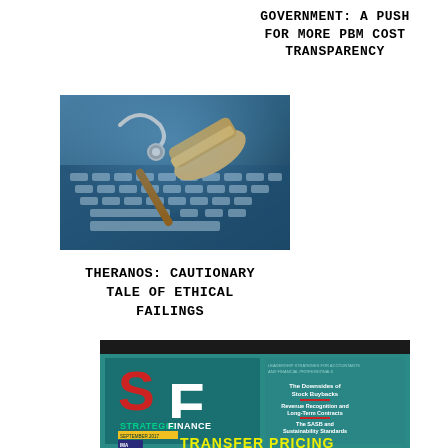GOVERNMENT: A PUSH FOR MORE PBM COST TRANSPARENCY
[Figure (photo): A gavel and stethoscope resting on a laptop keyboard, blue-tinted light, legal/medical theme]
THERANOS: CAUTIONARY TALE OF ETHICAL FAILINGS
[Figure (photo): Cover of Strategic Finance magazine September issue featuring 'TRANSFER PRICING' headline with SF logo, teal background. Sidebar items: The Downsides of Stock Buybacks, Revenue Recognition and Long-Term Contracts, The SASB and Sustainability Standards]